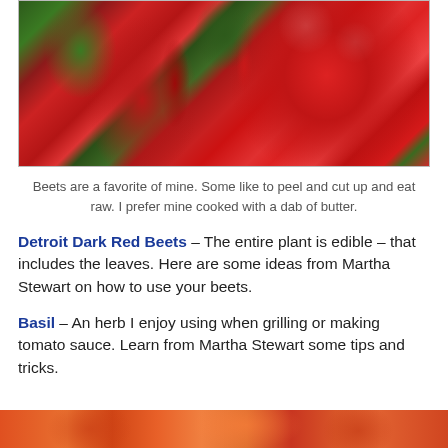[Figure (photo): Close-up photograph of deep red/crimson beets with green stems and leaves visible in the background]
Beets are a favorite of mine. Some like to peel and cut up and eat raw. I prefer mine cooked with a dab of butter.
Detroit Dark Red Beets – The entire plant is edible – that includes the leaves. Here are some ideas from Martha Stewart on how to use your beets.
Basil – An herb I enjoy using when grilling or making tomato sauce. Learn from Martha Stewart some tips and tricks.
[Figure (photo): Partial view of another vegetable/food item at the bottom of the page, showing orange/red colors]